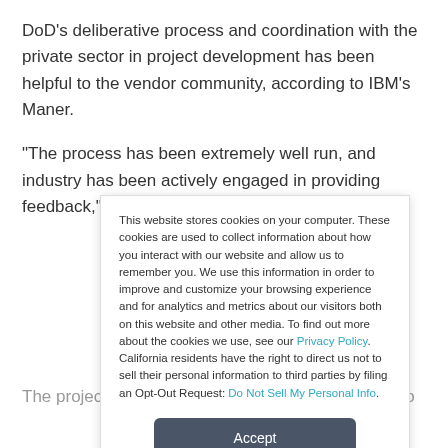DoD's deliberative process and coordination with the private sector in project development has been helpful to the vendor community, according to IBM's Maner.
“The process has been extremely well run, and industry has been actively engaged in providing feedback,” he said.
The project is not the first attempt for DoD and VA to cooperate
This website stores cookies on your computer. These cookies are used to collect information about how you interact with our website and allow us to remember you. We use this information in order to improve and customize your browsing experience and for analytics and metrics about our visitors both on this website and other media. To find out more about the cookies we use, see our Privacy Policy. California residents have the right to direct us not to sell their personal information to third parties by filing an Opt-Out Request: Do Not Sell My Personal Info.
Accept